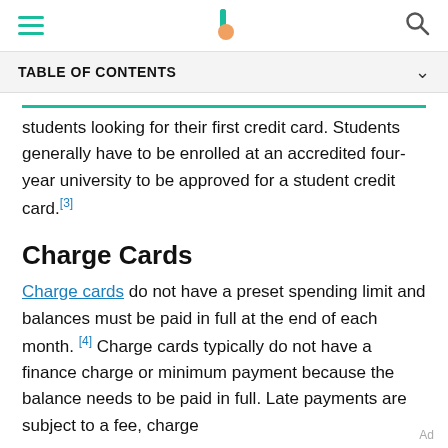TABLE OF CONTENTS
students looking for their first credit card. Students generally have to be enrolled at an accredited four-year university to be approved for a student credit card.[3]
Charge Cards
Charge cards do not have a preset spending limit and balances must be paid in full at the end of each month. [4] Charge cards typically do not have a finance charge or minimum payment because the balance needs to be paid in full. Late payments are subject to a fee, charge
Ad